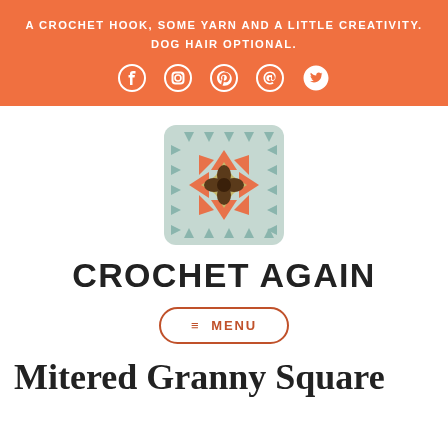A CROCHET HOOK, SOME YARN AND A LITTLE CREATIVITY. DOG HAIR OPTIONAL.
[Figure (logo): Crochet Again website logo: a granny square motif with blue, orange, tan and brown colors, and social media icons (Facebook, Instagram, Pinterest, email, Twitter) in the orange header banner]
CROCHET AGAIN
≡ MENU
Mitered Granny Square